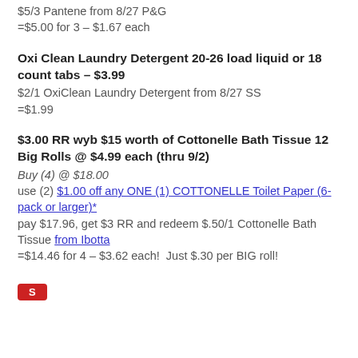$5/3 Pantene from 8/27 P&G
=$5.00 for 3 – $1.67 each
Oxi Clean Laundry Detergent 20-26 load liquid or 18 count tabs – $3.99
$2/1 OxiClean Laundry Detergent from 8/27 SS
=$1.99
$3.00 RR wyb $15 worth of Cottonelle Bath Tissue 12 Big Rolls @ $4.99 each (thru 9/2)
Buy (4) @ $18.00
use (2) $1.00 off any ONE (1) COTTONELLE Toilet Paper (6-pack or larger)*
pay $17.96, get $3 RR and redeem $.50/1 Cottonelle Bath Tissue from Ibotta
=$14.46 for 4 – $3.62 each!  Just $.30 per BIG roll!